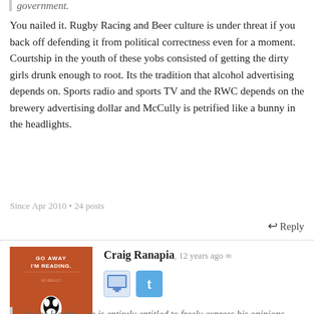government.
You nailed it. Rugby Racing and Beer culture is under threat if you back off defending it from political correctness even for a moment. Courtship in the youth of these yobs consisted of getting the dirty girls drunk enough to root. Its the tradition that alcohol advertising depends on. Sports radio and sports TV and the RWC depends on the brewery advertising dollar and McCully is petrified like a bunny in the headlights.
Since Apr 2010 • 24 posts
↩ Reply
Craig Ranapia, 12 years ago ∞
As for Haden – he is entirely entitled to freely express his opinions, God knows they are shared by enough of his fellow New Zealanders.
He's not free to accuse anyone of committing a pretty damn serious criminal offence. Perhaps I'm